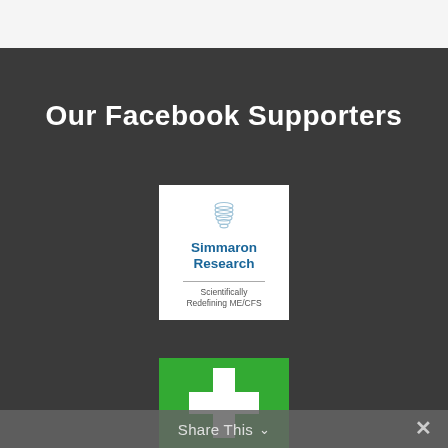Our Facebook Supporters
[Figure (logo): Simmaron Research logo — white background with stylized helix/flame icon in light blue at top, bold blue text 'Simmaron Research', thin horizontal rule, small gray text 'Scientifically Redefining ME/CFS']
[Figure (logo): Green square with white medical cross (plus sign) icon]
Share This